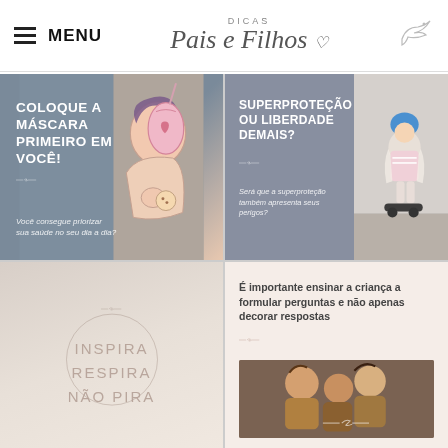MENU | DICAS Pais e Filhos
[Figure (illustration): Card with illustration of mother and child, text: COLOQUE A MÁSCARA PRIMEIRO EM VOCÊ! Você consegue priorizar sua saúde no seu dia a dia?]
[Figure (photo): Card with photo of child on hoverboard wearing helmet, text: SUPERPROTEÇÃO OU LIBERDADE DEMAIS? Será que a superproteção também apresenta seus perigos?]
[Figure (illustration): Card with pastel background and text: INSPIRA RESPIRA NÃO PIRA]
[Figure (photo): Card with photo of children, text: É importante ensinar a criança a formular perguntas e não apenas decorar respostas]